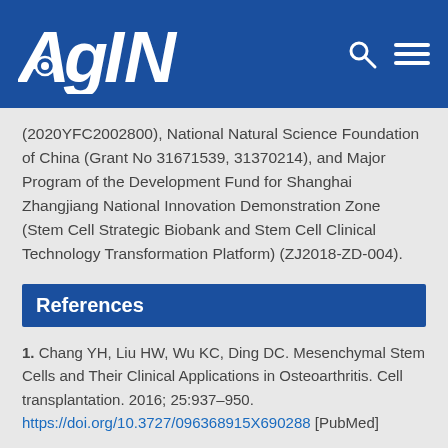AGING
(2020YFC2002800), National Natural Science Foundation of China (Grant No 31671539, 31370214), and Major Program of the Development Fund for Shanghai Zhangjiang National Innovation Demonstration Zone (Stem Cell Strategic Biobank and Stem Cell Clinical Technology Transformation Platform) (ZJ2018-ZD-004).
References
1. Chang YH, Liu HW, Wu KC, Ding DC. Mesenchymal Stem Cells and Their Clinical Applications in Osteoarthritis. Cell transplantation. 2016; 25:937–950. https://doi.org/10.3727/096368915X690288 [PubMed]